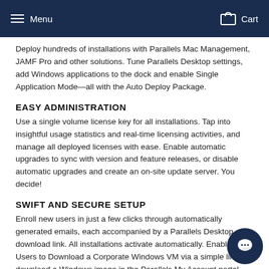Menu   Cart
Deploy hundreds of installations with Parallels Mac Management, JAMF Pro and other solutions. Tune Parallels Desktop settings, add Windows applications to the dock and enable Single Application Mode—all with the Auto Deploy Package.
EASY ADMINISTRATION
Use a single volume license key for all installations. Tap into insightful usage statistics and real-time licensing activities, and manage all deployed licenses with ease. Enable automatic upgrades to sync with version and feature releases, or disable automatic upgrades and create an on-site update server. You decide!
SWIFT AND SECURE SETUP
Enroll new users in just a few clicks through automatically generated emails, each accompanied by a Parallels Desktop download link. All installations activate automatically. Enable Users to Download a Corporate Windows VM via a simple link to download a Windows image in the Parallels My Account portal. Parallels Desktop users across your organization can then get required Windows applications with ea
DELIVER THE MOST SEAMLESS SOLUTION BETWEEN MAC AND WINDOWS